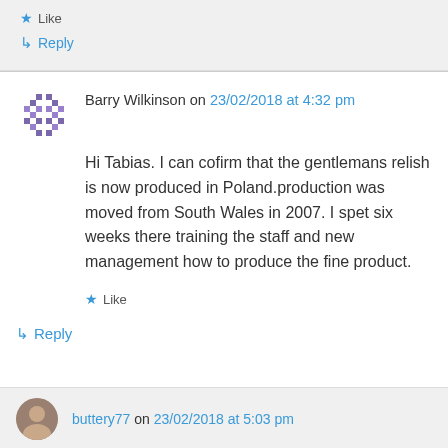★ Like
↳ Reply
Barry Wilkinson on 23/02/2018 at 4:32 pm
Hi Tabias. I can cofirm that the gentlemans relish is now produced in Poland.production was moved from South Wales in 2007. I spet six weeks there training the staff and new management how to produce the fine product.
★ Like
↳ Reply
buttery77 on 23/02/2018 at 5:03 pm